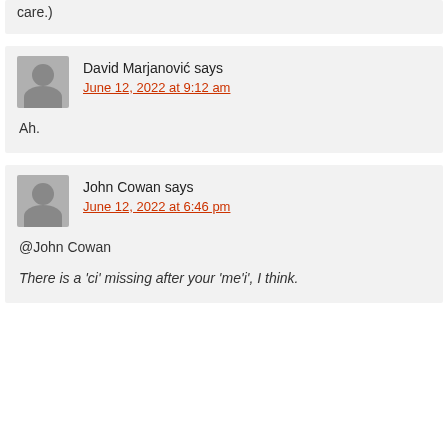care.)
David Marjanović says
June 12, 2022 at 9:12 am
Ah.
John Cowan says
June 12, 2022 at 6:46 pm
@John Cowan
There is a 'ci' missing after your 'me'i', I think.